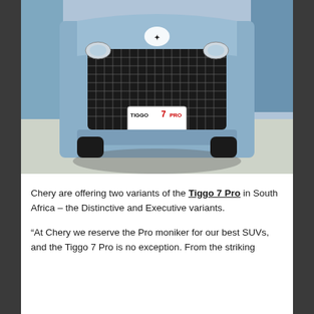[Figure (photo): Front-on view of a Chery Tiggo 7 Pro SUV. The vehicle is blue/grey with a large black diamond-pattern grille, the Chery logo on top, round fog lights on either side, and a licence plate area showing 'TIGGO 7 PRO'. The car is photographed against a light studio background with blue panel behind.]
Chery are offering two variants of the Tiggo 7 Pro in South Africa – the Distinctive and Executive variants.
“At Chery we reserve the Pro moniker for our best SUVs, and the Tiggo 7 Pro is no exception. From the striking